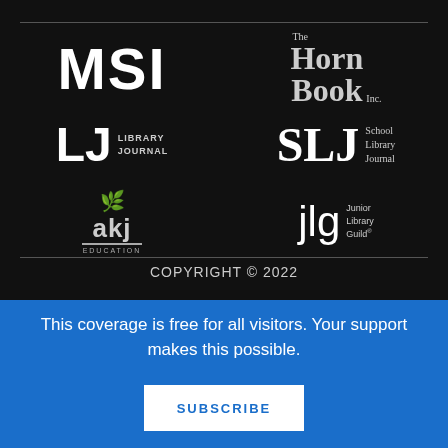[Figure (logo): MSI logo - large white bold letters on black background]
[Figure (logo): The Horn Book Inc. logo - serif white text on black background]
[Figure (logo): LJ Library Journal logo - white bold letters with text on black background]
[Figure (logo): SLJ School Library Journal logo - white serif letters with text on black background]
[Figure (logo): akj Education logo - white/gray letters with decorative icon on black background]
[Figure (logo): jlg Junior Library Guild logo - white letters with text on black background]
COPYRIGHT © 2022
This coverage is free for all visitors. Your support makes this possible.
SUBSCRIBE